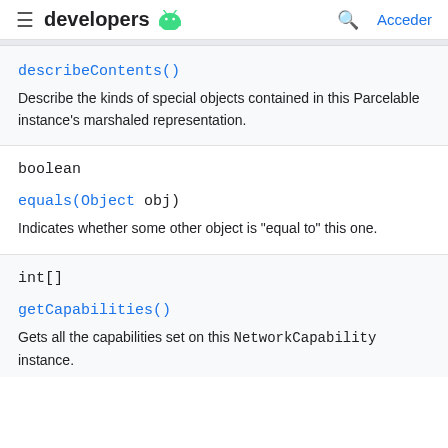developers [android logo] | Acceder
describeContents()
Describe the kinds of special objects contained in this Parcelable instance's marshaled representation.
boolean
equals(Object obj)
Indicates whether some other object is "equal to" this one.
int[]
getCapabilities()
Gets all the capabilities set on this NetworkCapability instance.